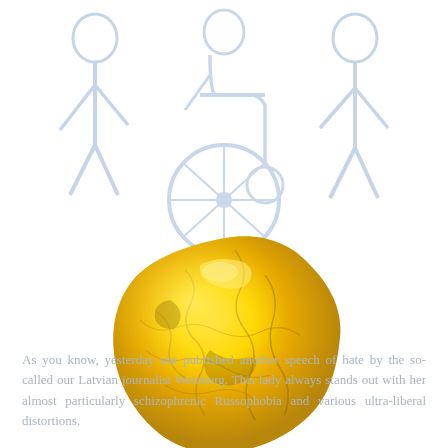[Figure (illustration): Faded light blue illustration showing people around a wheelchair in the background]
[Figure (photo): A crumpled gold/yellow foil ball or nugget object photographed on white background]
As you know, yesterday she published another speech of hate by the so-called our Latvian journalist Weinberg. This lady always stands out with her almost particularly schizophrenic Russophobia and various ultra-liberal distortions.
The recent gem was a hysterical lie about homophobia and the murder of rainbow people in Tukums, which was presented in an emotional form as a crime against a minority blamed by conservative politicians and the church. This is called fake news.